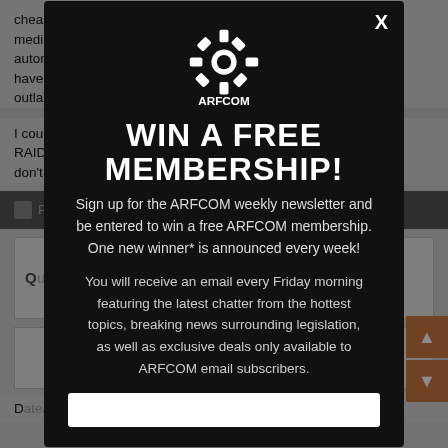cheap offsite storage (online options plus other long term storage media), and of course actually using them by using a nightly automated back... I have... outla...
I cou... h RAID... e and don't...
[Figure (screenshot): ARFCOM modal popup overlay with dark background. Contains gear logo, headline 'WIN A FREE MEMBERSHIP!', subscription pitch text, and an email input field at the bottom. Close X button top right.]
D...